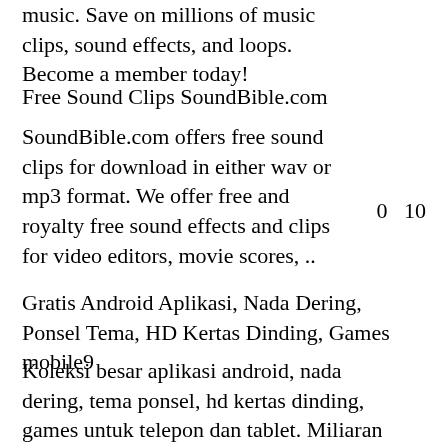music. Save on millions of music clips, sound effects, and loops. Become a member today!
Free Sound Clips SoundBible.com
SoundBible.com offers free sound clips for download in either wav or mp3 format. We offer free and royalty free sound effects and clips for video editors, movie scores, ..
0   10
Gratis Android Aplikasi, Nada Dering, Ponsel Tema, HD Kertas Dinding, Games mobile9
Koleksi besar aplikasi android, nada dering, tema ponsel, hd kertas dinding, games untuk telepon dan tablet. Miliaran mengunduh gratis disajikan.
Duran Duran Notorious 1986 Rar. 6/5/2018 admin. Thank you for visiting. Manual Leica Tc 1610 here. Fxphd Torrent Download. Download Duran Duran – The Singles Box 1986-1995 (2017) New Full Album.rar from mediafire, zippyshare, 4shared, mega, uploaded, turbobit, rapidgator, datafilehost and torrent. Duran Duran - Notorious (1986) Vinyl. Vinyl Rips / Pop. All music Duran Duran. Quality: FLAC 24 bit / 96 kHz (Tracks) Artist: Duran Duran
0   11